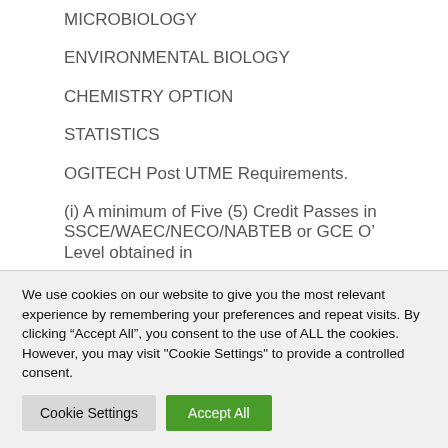MICROBIOLOGY
ENVIRONMENTAL BIOLOGY
CHEMISTRY OPTION
STATISTICS
OGITECH Post UTME Requirements.
(i) A minimum of Five (5) Credit Passes in SSCE/WAEC/NECO/NABTEB or GCE O’ Level obtained in
We use cookies on our website to give you the most relevant experience by remembering your preferences and repeat visits. By clicking “Accept All”, you consent to the use of ALL the cookies. However, you may visit "Cookie Settings" to provide a controlled consent.